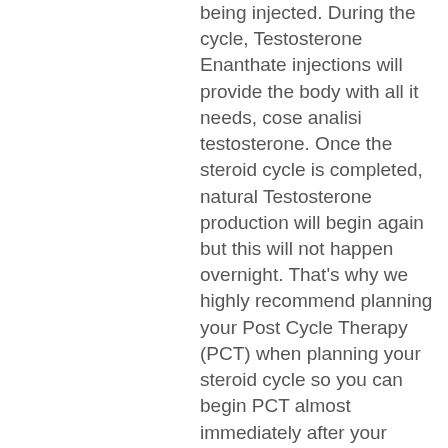being injected. During the cycle, Testosterone Enanthate injections will provide the body with all it needs, cose analisi testosterone. Once the steroid cycle is completed, natural Testosterone production will begin again but this will not happen overnight. That's why we highly recommend planning your Post Cycle Therapy (PCT) when planning your steroid cycle so you can begin PCT almost immediately after your cycle.
acquistare steroidi in linea farmaci per il bodybuilding.
Maggiori informazioni sulla terapia post ciclo. Potreste avvertire un maggior senso di fame durante il trattamento con gli steroidi e, di conseguenza, sentirete il bisogno di mangiare di più, trenbolone acetate and sustanon cycle. Ciò è dovuto il loro corpo per abituarsi agli aggiustamenti in gradi di steroidi. Di solito viene meglio entro 2 tre